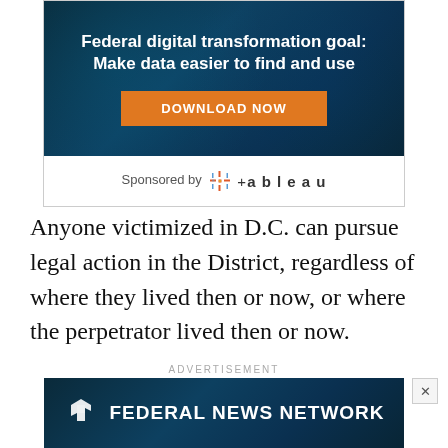[Figure (infographic): Advertisement banner for Tableau: 'Federal digital transformation goal: Make data easier to find and use' with a DOWNLOAD NOW button on a dark blue tech background. Sponsored by Tableau logo below.]
Anyone victimized in D.C. can pursue legal action in the District, regardless of where they lived then or now, or where the perpetrator lived then or now.
ADVERTISEMENT
[Figure (infographic): Advertisement for Federal News Network with logo and 'Federal digital transformation goal: Make data easier to find and use' with DOWNLOAD NOW button.]